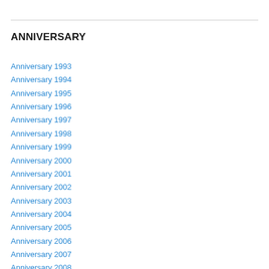ANNIVERSARY
Anniversary 1993
Anniversary 1994
Anniversary 1995
Anniversary 1996
Anniversary 1997
Anniversary 1998
Anniversary 1999
Anniversary 2000
Anniversary 2001
Anniversary 2002
Anniversary 2003
Anniversary 2004
Anniversary 2005
Anniversary 2006
Anniversary 2007
Anniversary 2008